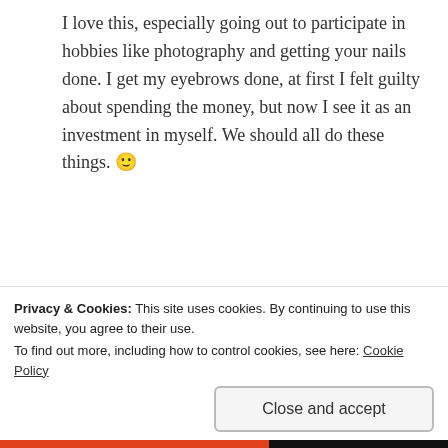I love this, especially going out to participate in hobbies like photography and getting your nails done. I get my eyebrows done, at first I felt guilty about spending the money, but now I see it as an investment in myself. We should all do these things. 🙂
★ Liked by 1 person
Reply
alexxmarie — AUGUST 9, 2018 AT 4:15 PM
Privacy & Cookies: This site uses cookies. By continuing to use this website, you agree to their use. To find out more, including how to control cookies, see here: Cookie Policy
Close and accept